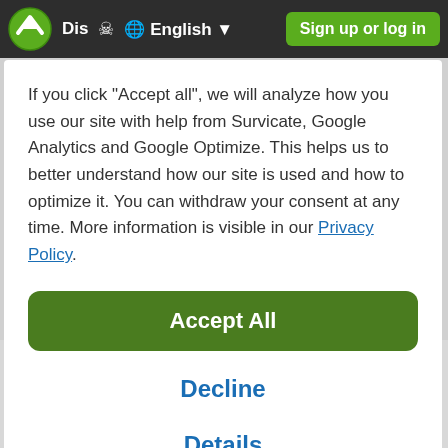Dis  English  Sign up or log in
If you click "Accept all", we will analyze how you use our site with help from Survicate, Google Analytics and Google Optimize. This helps us to better understand how our site is used and how to optimize it. You can withdraw your consent at any time. More information is visible in our Privacy Policy.
Accept All
Decline
Details
City breaks in the south